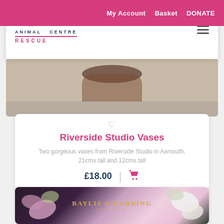My Account  Basket  DONATE
[Figure (logo): St Giles Animal Centre Rescue logo with paw print]
[Figure (photo): Top of vases product image - wooden bowl visible on light surface]
Riverside Studio Vases
Two gorgeous vases from Riverside Studio in Axmouth, 21cms tall and 12cms tall
£18.00
[Figure (photo): Baylis & Harding England product box with pink and white flowers]